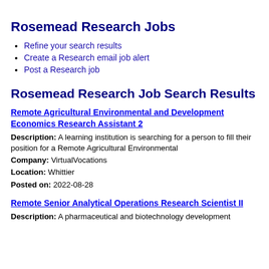Rosemead Research Jobs
Refine your search results
Create a Research email job alert
Post a Research job
Rosemead Research Job Search Results
Remote Agricultural Environmental and Development Economics Research Assistant 2
Description: A learning institution is searching for a person to fill their position for a Remote Agricultural Environmental
Company: VirtualVocations
Location: Whittier
Posted on: 2022-08-28
Remote Senior Analytical Operations Research Scientist II
Description: A pharmaceutical and biotechnology development